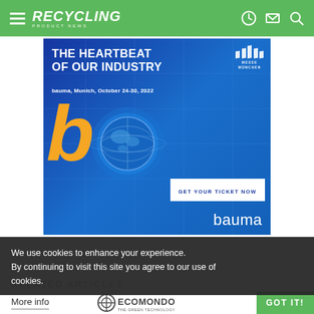RECYCLING PRODUCT NEWS
[Figure (illustration): Bauma Munich October 24-30 2022 advertisement banner. Blue background with large yellow letter B, globe graphic, Messe München logo, text: THE HEARTBEAT OF OUR INDUSTRY, bauma Munich October 24-30 2022, GET YOUR TICKET NOW button, and bauma logo.]
We use cookies to enhance your experience. By continuing to visit this site you agree to our use of cookies.
RELATED ARTICLES
More info
[Figure (logo): Ecomondo - The Green Technology logo]
GOT IT!